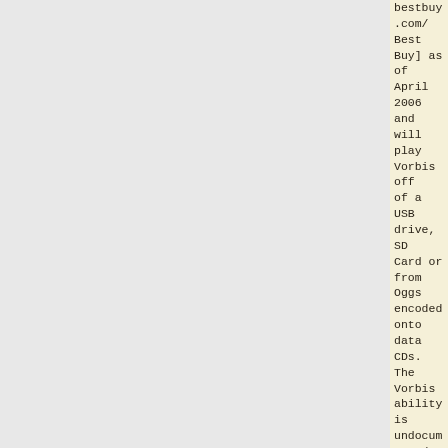bestbuy.com/ Best Buy] as of April 2006 and will play Vorbis off of a USB drive, SD Card or from Oggs encoded onto data CDs. The Vorbis ability is undocumented. There are similar (or same) complaints as noted about the Yakumo unit